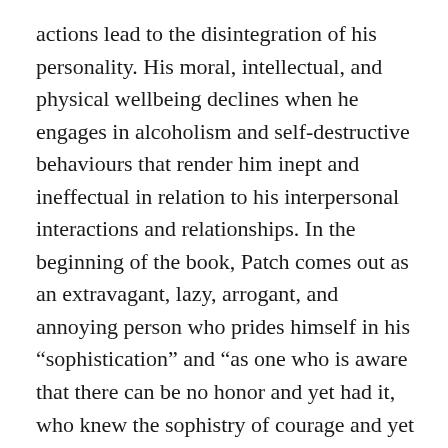actions lead to the disintegration of his personality. His moral, intellectual, and physical wellbeing declines when he engages in alcoholism and self-destructive behaviours that render him inept and ineffectual in relation to his interpersonal interactions and relationships. In the beginning of the book, Patch comes out as an extravagant, lazy, arrogant, and annoying person who prides himself in his “sophistication” and “as one who is aware that there can be no honor and yet had it, who knew the sophistry of courage and yet was brave” (Fitzgerald 151). Moreover, he does not desire higher achievements or honour because “all efforts and attainment are equally valueless” (Bruccoli 78). He is just waiting for his grandfather to pass away so that he can inherit his fortune. This description fits Patch’s life when he is 25 years of age. Six years later, his extravagant, irresponsible, and carefree lifestyle turns him into a lazy, backward, and physically degraded